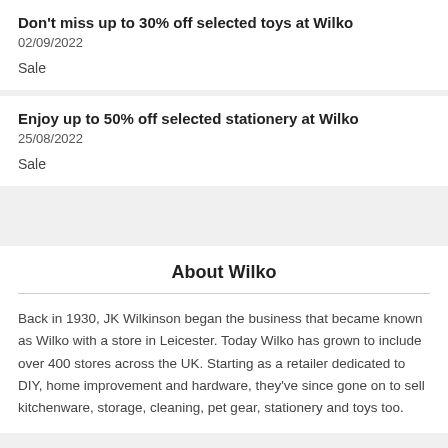Don't miss up to 30% off selected toys at Wilko
02/09/2022
Sale
Enjoy up to 50% off selected stationery at Wilko
25/08/2022
Sale
About Wilko
Back in 1930, JK Wilkinson began the business that became known as Wilko with a store in Leicester. Today Wilko has grown to include over 400 stores across the UK. Starting as a retailer dedicated to DIY, home improvement and hardware, they've since gone on to sell kitchenware, storage, cleaning, pet gear, stationery and toys too.